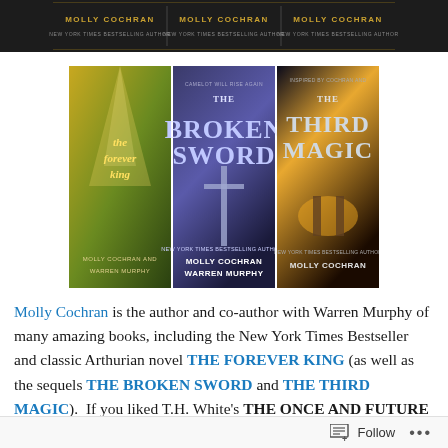[Figure (illustration): Dark banner strip showing 'MOLLY COCHRAN' author name repeated three times with 'NEW YORK TIMES BESTSELLING AUTHOR' subtitle in each section]
[Figure (photo): Three book covers side by side: 'The Forever King' by Molly Cochran and Warren Murphy (green/gold tones with sword), 'The Broken Sword' by Molly Cochran and Warren Murphy (blue/purple tones with sword), 'The Third Magic' by Molly Cochran (dark tones with archway)]
Molly Cochran is the author and co-author with Warren Murphy of many amazing books, including the New York Times Bestseller and classic Arthurian novel THE FOREVER KING (as well as the sequels THE BROKEN SWORD and THE THIRD MAGIC).  If you liked T.H. White's THE ONCE AND FUTURE KING, Mary Stewart's
Follow ...